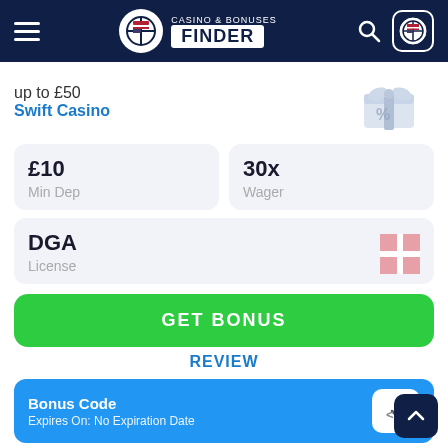Casino & Bonuses Finder
up to £50
Swift Casino
£10
Min Dep
30x
Wager
DGA
License
GET BONUS
REVIEW
Bonus Code
Expires On: No Expiration Date
User feedback
1
GOOD
0
BAD